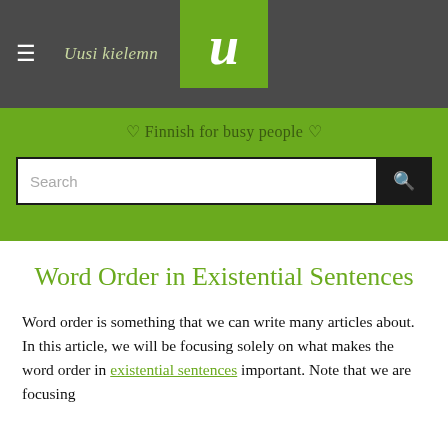Uusi kielemn | Finnish for busy people
Word Order in Existential Sentences
Word order is something that we can write many articles about. In this article, we will be focusing solely on what makes the word order in existential sentences important. Note that we are focusing